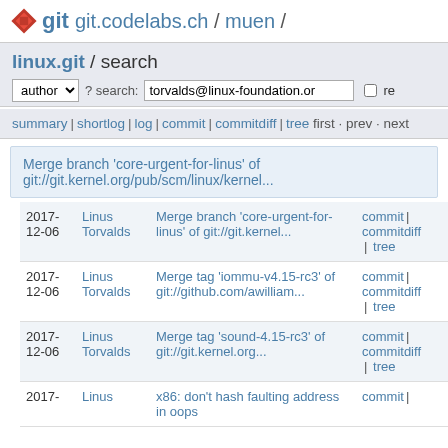git  git.codelabs.ch / muen /
linux.git / search
author ? search: torvalds@linux-foundation.or  re
summary | shortlog | log | commit | commitdiff | tree  first · prev · next
Merge branch 'core-urgent-for-linus' of git://git.kernel.org/pub/scm/linux/kernel...
| Date | Author | Message | Links |
| --- | --- | --- | --- |
| 2017-
12-06 | Linus
Torvalds | Merge branch 'core-urgent-for-linus' of git://git.kernel... | commit | commitdiff | tree |
| 2017-
12-06 | Linus
Torvalds | Merge tag 'iommu-v4.15-rc3' of git://github.com/awilliam... | commit | commitdiff | tree |
| 2017-
12-06 | Linus
Torvalds | Merge tag 'sound-4.15-rc3' of git://git.kernel.org... | commit | commitdiff | tree |
| 2017- | Linus | x86: don't hash faulting address in oops | commit | |